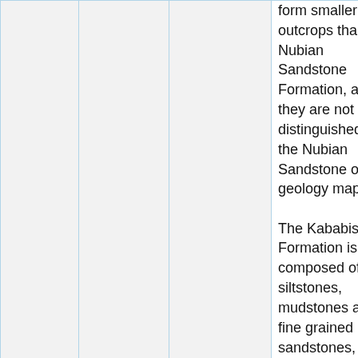|  | Kabbabish |  | form smaller outcrops than the Nubian Sandstone Formation, and they are not distinguished from the Nubian Sandstone on the geology map.

The Kababish Formation is composed of siltstones, mudstones and fine grained sandstones, around 100 m thick. The Wad Hower Formation is composed o... |